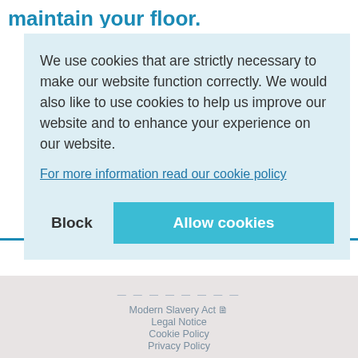maintain your floor.
We use cookies that are strictly necessary to make our website function correctly. We would also like to use cookies to help us improve our website and to enhance your experience on our website.
For more information read our cookie policy
Block
Allow cookies
Modern Slavery Act
Legal Notice
Cookie Policy
Privacy Policy
Sitemap
CONTACT US